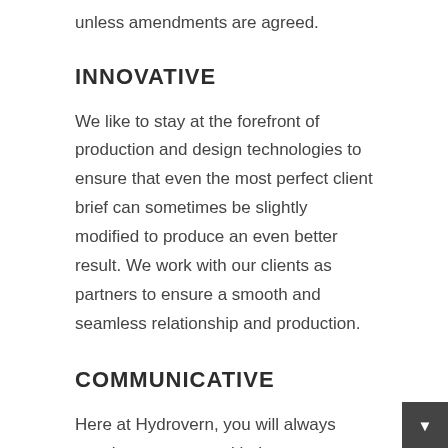unless amendments are agreed.
INNOVATIVE
We like to stay at the forefront of production and design technologies to ensure that even the most perfect client brief can sometimes be slightly modified to produce an even better result. We work with our clients as partners to ensure a smooth and seamless relationship and production.
COMMUNICATIVE
Here at Hydrovern, you will always speak to someone with the power to action your requests. You won't be assigned a junior account manager, but either the MD or our Sales Engineer will